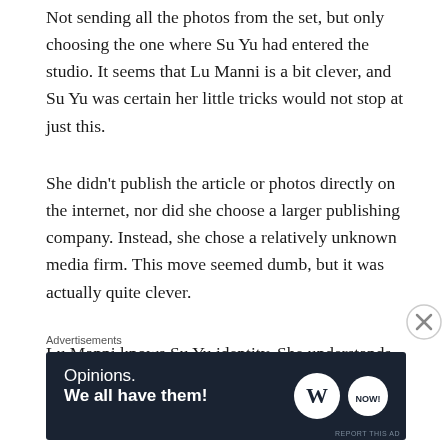Not sending all the photos from the set, but only choosing the one where Su Yu had entered the studio. It seems that Lu Manni is a bit clever, and Su Yu was certain her little tricks would not stop at just this.
She didn't publish the article or photos directly on the internet, nor did she choose a larger publishing company. Instead, she chose a relatively unknown media firm. This move seemed dumb, but it was actually quite clever.
Lu Manni knows Su Yu identity. She understands clearly that even if she exhausts herself trying to spread this incident, Su Yu wouldn't be greatly
Advertisements
[Figure (other): Advertisement banner with dark navy background. Text reads 'Opinions. We all have them!' with WordPress logo and another circular logo on the right.]